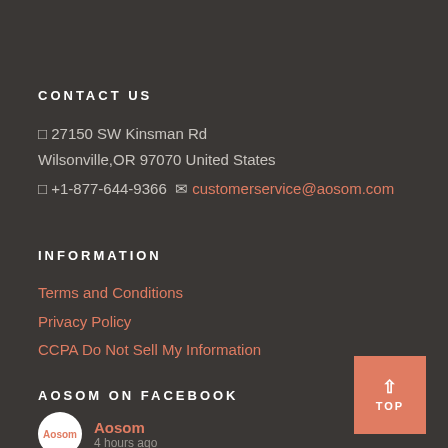CONTACT US
□ 27150 SW Kinsman Rd Wilsonville,OR 97070 United States
□ +1-877-644-9366  ✉ customerservice@aosom.com
INFORMATION
Terms and Conditions
Privacy Policy
CCPA Do Not Sell My Information
AOSOM ON FACEBOOK
[Figure (logo): Aosom circular logo with text 'Aosom' and '4 hours ago']
[Figure (other): TOP button - salmon/coral colored square with upward arrow and text 'TOP']